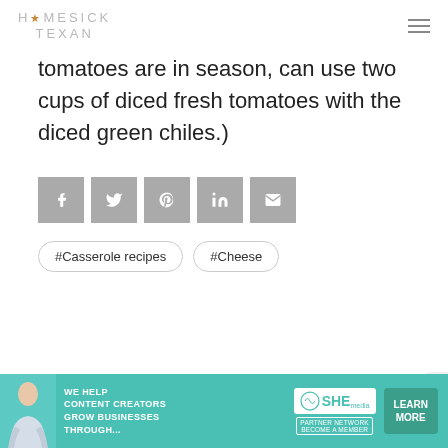HOMESICK TEXAN
tomatoes are in season, can use two cups of diced fresh tomatoes with the diced green chiles.)
[Figure (infographic): Social sharing buttons: Facebook, Twitter, Pinterest, LinkedIn, Email]
#Casserole recipes   #Cheese
[Figure (infographic): SHE Media advertisement banner: WE HELP CONTENT CREATORS GROW BUSINESSES THROUGH... with LEARN MORE button and PARTNER NETWORK badge]